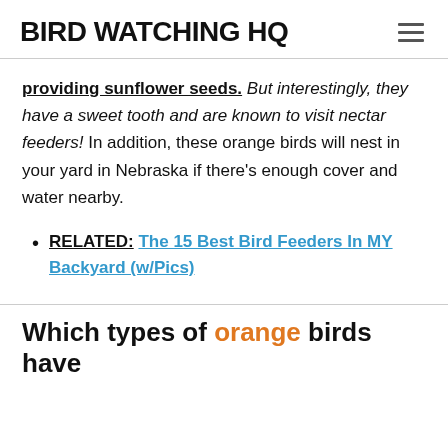BIRD WATCHING HQ
providing sunflower seeds. But interestingly, they have a sweet tooth and are known to visit nectar feeders! In addition, these orange birds will nest in your yard in Nebraska if there's enough cover and water nearby.
RELATED: The 15 Best Bird Feeders In MY Backyard (w/Pics)
Which types of orange birds have